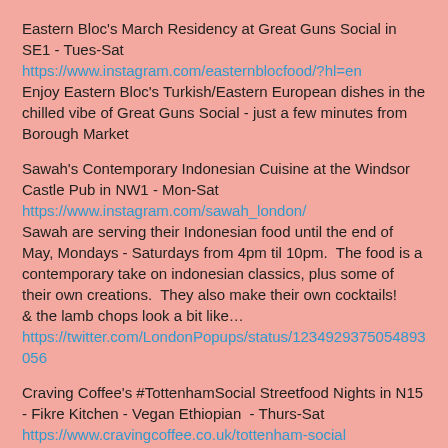Eastern Bloc's March Residency at Great Guns Social in SE1 - Tues-Sat
https://www.instagram.com/easternblocfood/?hl=en
Enjoy Eastern Bloc's Turkish/Eastern European dishes in the chilled vibe of Great Guns Social - just a few minutes from Borough Market
Sawah's Contemporary Indonesian Cuisine at the Windsor Castle Pub in NW1 - Mon-Sat
https://www.instagram.com/sawah_london/
Sawah are serving their Indonesian food until the end of May, Mondays - Saturdays from 4pm til 10pm.  The food is a contemporary take on indonesian classics, plus some of their own creations.  They also make their own cocktails!
& the lamb chops look a bit like…
https://twitter.com/LondonPopups/status/1234929375054893056
Craving Coffee's #TottenhamSocial Streetfood Nights in N15 - Fikre Kitchen - Vegan Ethiopian  - Thurs-Sat
https://www.cravingcoffee.co.uk/tottenham-social